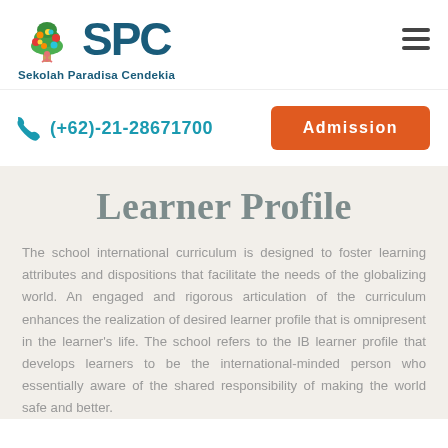[Figure (logo): SPC Sekolah Paradisa Cendekia logo with colorful tree and teal SPC text]
(+62)-21-28671700
Admission
Learner Profile
The school international curriculum is designed to foster learning attributes and dispositions that facilitate the needs of the globalizing world. An engaged and rigorous articulation of the curriculum enhances the realization of desired learner profile that is omnipresent in the learner's life. The school refers to the IB learner profile that develops learners to be the international-minded person who essentially aware of the shared responsibility of making the world safe and better.